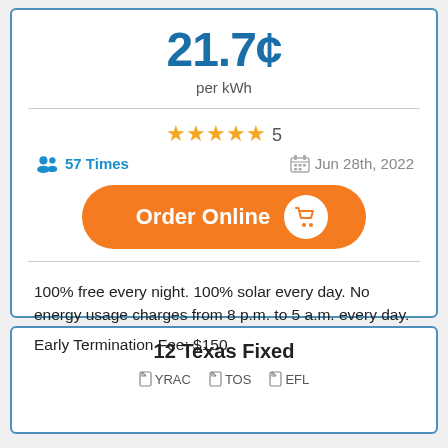21.7¢ per kWh
★★★★★ 5
57 Times   Jun 28th, 2022
Order Online
100% free every night. 100% solar every day. No energy usage charges from 8 p.m. to 5 a.m. every day.
Early Termination Fee: $150
12 Texas Fixed
YRAC  TOS  EFL